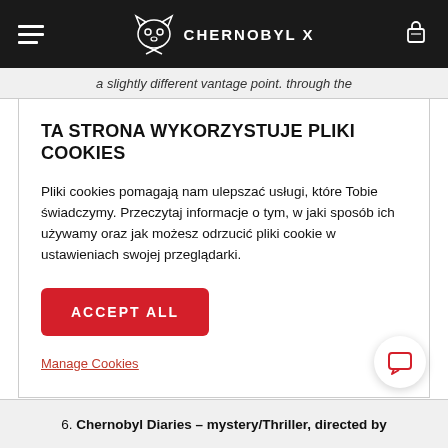CHERNOBYL X
a slightly different vantage point. through the
TA STRONA WYKORZYSTUJE PLIKI COOKIES
Pliki cookies pomagają nam ulepszać usługi, które Tobie świadczymy. Przeczytaj informacje o tym, w jaki sposób ich używamy oraz jak możesz odrzucić pliki cookie w ustawieniach swojej przeglądarki.
ACCEPT ALL
Manage Cookies
6. Chernobyl Diaries – mystery/Thriller, directed by